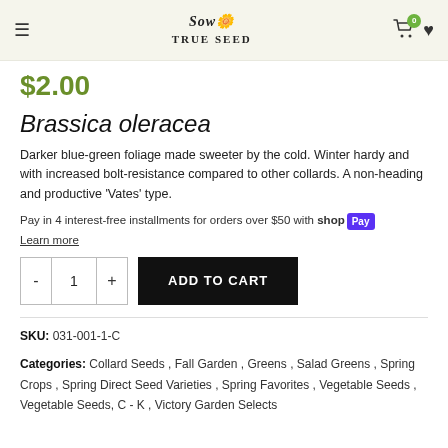Sow True Seed — navigation bar
$2.00
Brassica oleracea
Darker blue-green foliage made sweeter by the cold. Winter hardy and with increased bolt-resistance compared to other collards. A non-heading and productive 'Vates' type.
Pay in 4 interest-free installments for orders over $50 with shop Pay
Learn more
- 1 + ADD TO CART
SKU: 031-001-1-C
Categories: Collard Seeds, Fall Garden, Greens, Salad Greens, Spring Crops, Spring Direct Seed Varieties, Spring Favorites, Vegetable Seeds, Vegetable Seeds, C - K, Victory Garden Selects